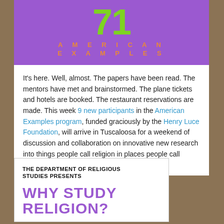[Figure (illustration): Purple banner with large green number '71' and orange text 'AMERICAN EXAMPLES' in spaced uppercase letters]
It's here. Well, almost. The papers have been read. The mentors have met and brainstormed. The plane tickets and hotels are booked. The restaurant reservations are made. This week 9 new participants in the American Examples program, funded graciously by the Henry Luce Foundation, will arrive in Tuscaloosa for a weekend of discussion and collaboration on innovative new research into things people call religion in places people call America. We have a lot going on this week.
[Figure (illustration): White card with bold black uppercase text 'THE DEPARTMENT OF RELIGIOUS STUDIES PRESENTS' and large purple bold text 'WHY STUDY RELIGION?']